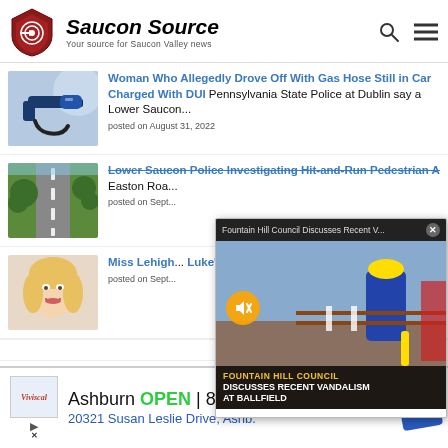[Figure (logo): Saucon Source logo - red shield with target icon, bold italic text 'Saucon Source', subtitle 'Your source for Saucon Valley news']
[Figure (photo): Gas pump nozzle being inserted into car]
Woman Who Allegedly Drove Off With Gas Hose Still in Car Charged With DUI Pennsylvania State Police at Dublin say a Lower Saucon...
posted on August 31, 2022
[Figure (photo): Road with trees alongside - Easton Road area]
Lower Saucon Police Investigating Hit-and-Run Pedestrian A... Easton Roa...
posted on Sept...
[Figure (photo): Blonde woman smiling - Miss Lehigh...]
Miss Lehigh... Luke's The... pageants mi...
posted on Sept...
[Figure (screenshot): Video popup overlay showing 'Fountain Hill Council Discusses Recent V...' with video thumbnail of person at ballfield. Text overlay: FOUNTAIN HILL COUNCIL DISCUSSES RECENT VANDALISM AT BALLFIELD]
[Figure (other): Advertisement: Ashburn OPEN 8AM-10PM, 20321 Susan Leslie Drive, Ashb. Viviscal logo shown.]